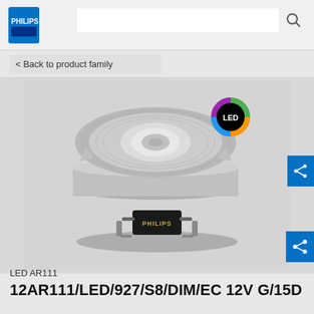PHILIPS
< Back to product family
[Figure (photo): Philips LED AR111 bulb product photo on grey background, showing the circular lamp from a slight angle, with LED badge in upper right]
LED AR111
12AR111/LED/927/S8/DIM/EC 12V G/15D